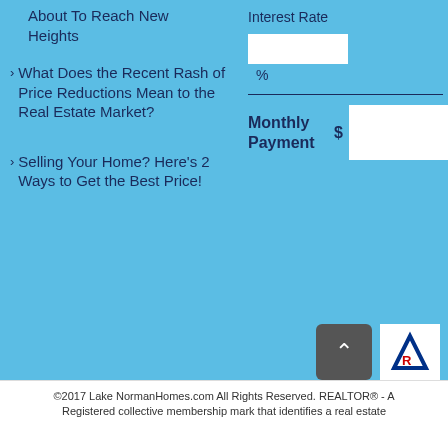About To Reach New Heights
What Does the Recent Rash of Price Reductions Mean to the Real Estate Market?
Selling Your Home? Here's 2 Ways to Get the Best Price!
Interest Rate
%
Monthly Payment
$
©2017 Lake NormanHomes.com All Rights Reserved. REALTOR® - A Registered collective membership mark that identifies a real estate